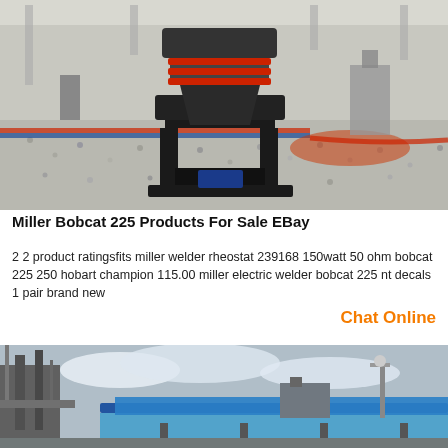[Figure (photo): Industrial cone crusher machine on a factory floor covered with small white aggregate stones, red and blue safety lines visible, industrial facility interior]
Miller Bobcat 225 Products For Sale EBay
2 2 product ratingsfits miller welder rheostat 239168 150watt 50 ohm bobcat 225 250 hobart champion 115.00 miller electric welder bobcat 225 nt decals 1 pair brand new
Chat Online
[Figure (photo): Industrial processing plant with conveyor belts covered in blue tarpaulin, industrial structures and cloudy sky in the background]